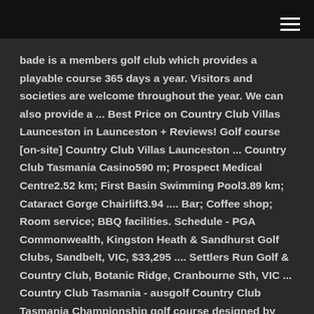bade is a members golf club which provides a playable course 365 days a year. Visitors and societies are welcome throughout the year. We can also provide a ... Best Price on Country Club Villas Launceston in Launceston + Reviews! Golf course [on-site] Country Club Villas Launceston ... Country Club Tasmania Casino590 m; Prospect Medical Centre2.52 km; First Basin Swimming Pool3.89 km; Cataract Gorge Chairlift3.94 .... Bar; Coffee shop; Room service; BBQ facilities. Schedule - PGA Commonwealth, Kingston Heath & Sandhurst Golf Clubs, Sandbelt, VIC, $33,295 .... Settlers Run Golf & Country Club, Botanic Ridge, Cranbourne Sth, VIC ... Country Club Tasmania - ausgolf Country Club Tasmania Championship golf course designed by Thomson - Wolveridge. ... Top 5 Golf Resorts with a Casino · The Magic